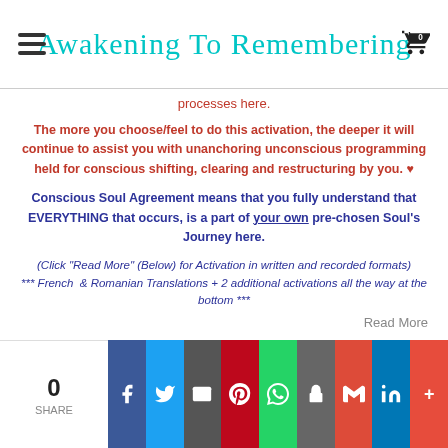Awakening To Remembering
processes here.
The more you choose/feel to do this activation, the deeper it will continue to assist you with unanchoring unconscious programming held for conscious shifting, clearing and restructuring by you. ♥
Conscious Soul Agreement means that you fully understand that EVERYTHING that occurs, is a part of your own pre-chosen Soul's Journey here.
(Click "Read More" (Below) for Activation in written and recorded formats)
*** French & Romanian Translations + 2 additional activations all the way at the bottom ***
Read More